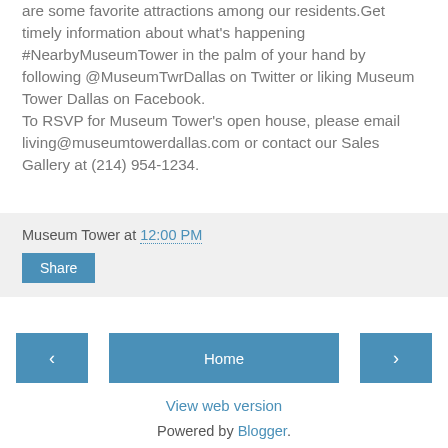are some favorite attractions among our residents.Get timely information about what's happening #NearbyMuseumTower in the palm of your hand by following @MuseumTwrDallas on Twitter or liking Museum Tower Dallas on Facebook.
To RSVP for Museum Tower's open house, please email living@museumtowerdallas.com or contact our Sales Gallery at (214) 954-1234.
Museum Tower at 12:00 PM
Share
Home
View web version
Powered by Blogger.